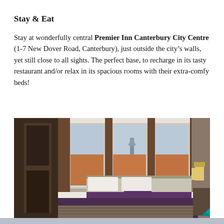Stay & Eat
Stay at wonderfully central Premier Inn Canterbury City Centre (1-7 New Dover Road, Canterbury), just outside the city’s walls, yet still close to all sights. The perfect base, to recharge in its tasty restaurant and/or relax in its spacious rooms with their extra-comfy beds!
[Figure (photo): Hotel room at Premier Inn Canterbury City Centre showing a large double bed with white duvet and purple runner/cushion, large windows with brown curtains overlooking Canterbury city rooftops and cathedral, warm lighting with wall-mounted lamps, wooden furniture on left.]